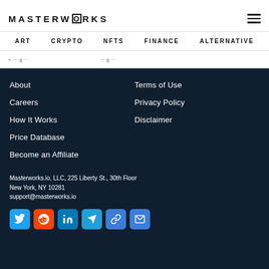MASTERWORKS
ART   CRYPTO   NFTS   FINANCE   ALTERNATIVE
About
Careers
How It Works
Price Database
Become an Affiliate
Terms of Use
Privacy Policy
Disclaimer
Masterworks.io, LLC, 225 Liberty St., 30th Floor
New York, NY 10281
support@masterworks.io